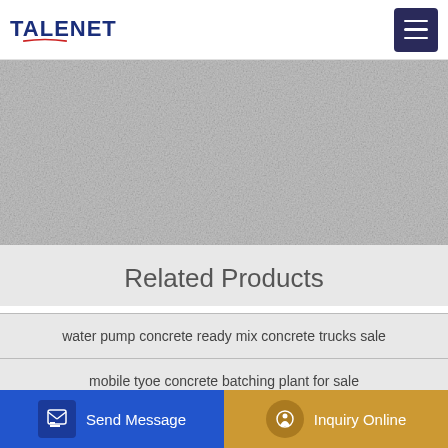TALENET
[Figure (photo): Banner/hero area with textured background]
Related Products
water pump concrete ready mix concrete trucks sale
mobile tyoe concrete batching plant for sale
table dry mix mortar production plants making plant at
Daftar harga Batching Plant Bulan Juli 2021